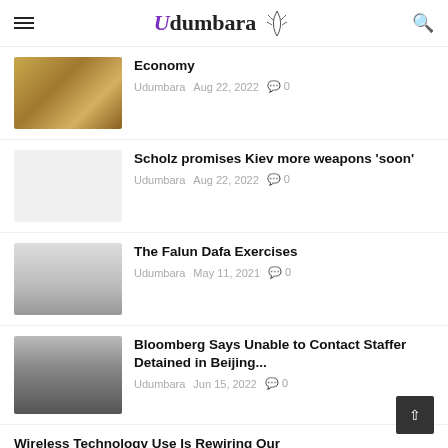Udumbara
Economy
Udumbara  Aug 22, 2022  0
Scholz promises Kiev more weapons 'soon'
Udumbara  Aug 22, 2022  0
The Falun Dafa Exercises
Udumbara  May 11, 2021  0
Bloomberg Says Unable to Contact Staffer Detained in Beijing...
Udumbara  Jun 15, 2022  0
Wireless Technology Use Is Rewiring Our